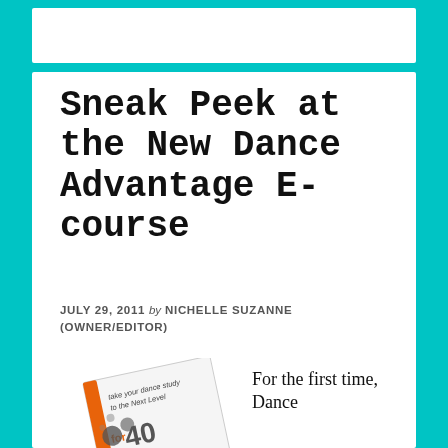Sneak Peek at the New Dance Advantage E-course
JULY 29, 2011 by NICHELLE SUZANNE (OWNER/EDITOR)
[Figure (photo): A tilted book cover for '4 for 40' with text 'Take your dance study to the Next Level' and '40 weeks of Inspiration, Education, Motivation' with numbered circles]
For the first time, Dance